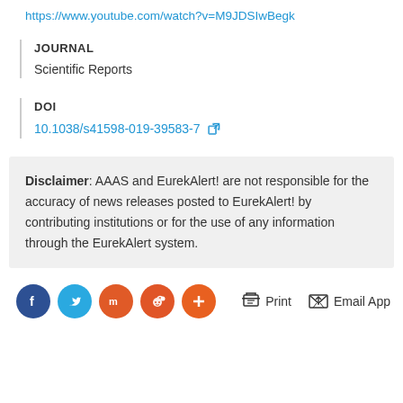https://www.youtube.com/watch?v=M9JDSIwBegk
JOURNAL
Scientific Reports
DOI
10.1038/s41598-019-39583-7
Disclaimer: AAAS and EurekAlert! are not responsible for the accuracy of news releases posted to EurekAlert! by contributing institutions or for the use of any information through the EurekAlert system.
Print  Email App